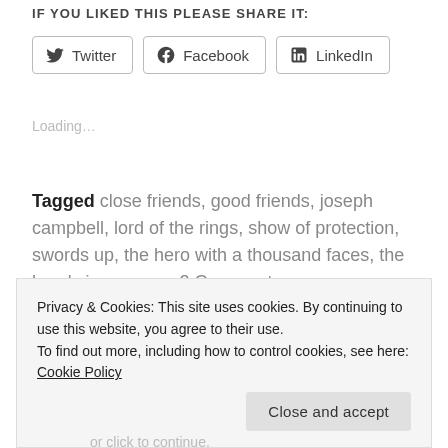IF YOU LIKED THIS PLEASE SHARE IT:
[Figure (other): Share buttons for Twitter, Facebook, and LinkedIn]
Loading...
Tagged close friends, good friends, joseph campbell, lord of the rings, show of protection, swords up, the hero with a thousand faces, the hero's journey      2 Comments
Privacy & Cookies: This site uses cookies. By continuing to use this website, you agree to their use. To find out more, including how to control cookies, see here: Cookie Policy
Close and accept
or click to continue.